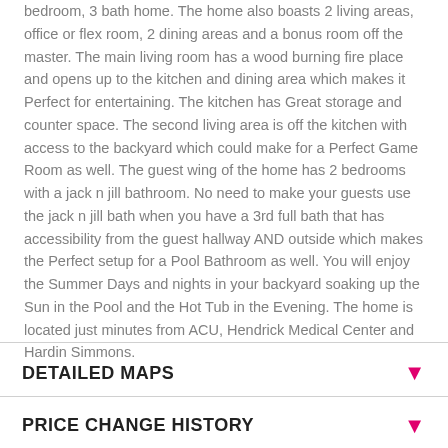bedroom, 3 bath home. The home also boasts 2 living areas, office or flex room, 2 dining areas and a bonus room off the master. The main living room has a wood burning fire place and opens up to the kitchen and dining area which makes it Perfect for entertaining. The kitchen has Great storage and counter space. The second living area is off the kitchen with access to the backyard which could make for a Perfect Game Room as well. The guest wing of the home has 2 bedrooms with a jack n jill bathroom. No need to make your guests use the jack n jill bath when you have a 3rd full bath that has accessibility from the guest hallway AND outside which makes the Perfect setup for a Pool Bathroom as well. You will enjoy the Summer Days and nights in your backyard soaking up the Sun in the Pool and the Hot Tub in the Evening. The home is located just minutes from ACU, Hendrick Medical Center and Hardin Simmons.
DETAILED MAPS
PRICE CHANGE HISTORY